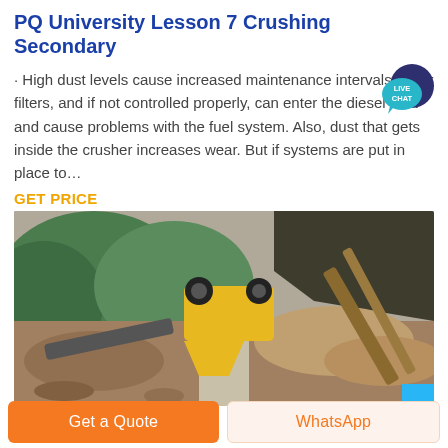PQ University Lesson 7 Crushing Secondary
· High dust levels cause increased maintenance intervals on air filters, and if not controlled properly, can enter the diesel tank and cause problems with the fuel system. Also, dust that gets inside the crusher increases wear. But if systems are put in place to…
GET PRICE
[Figure (photo): Outdoor quarry/crushing site with yellow jaw crusher machine, rock piles, hillside vegetation, and conveyor structures.]
Get a Quote
WhatsApp